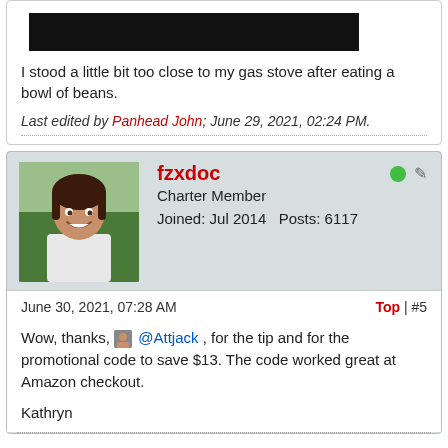[Figure (photo): Black bar/redacted image at top of post]
I stood a little bit too close to my gas stove after eating a bowl of beans.
Last edited by Panhead John; June 29, 2021, 02:24 PM.
[Figure (photo): Avatar photo of fzxdoc - woman with brown hair smiling outdoors]
fzxdoc
Charter Member
Joined: Jul 2014   Posts: 6117
June 30, 2021, 07:28 AM
Top | #5
Wow, thanks, @Attjack , for the tip and for the promotional code to save $13. The code worked great at Amazon checkout.

Kathryn